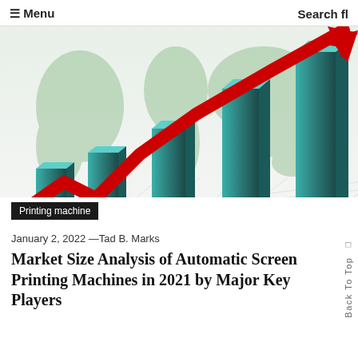☰ Menu   Search fl
[Figure (illustration): 3D bar chart with teal/green bars increasing in height from left to right, with a red upward-trending arrow overlaid, and a green world map silhouette in the background. Represents market growth data. The base has a checkered floor pattern.]
Printing machine
January 2, 2022 —Tad B. Marks
Market Size Analysis of Automatic Screen Printing Machines in 2021 by Major Key Players